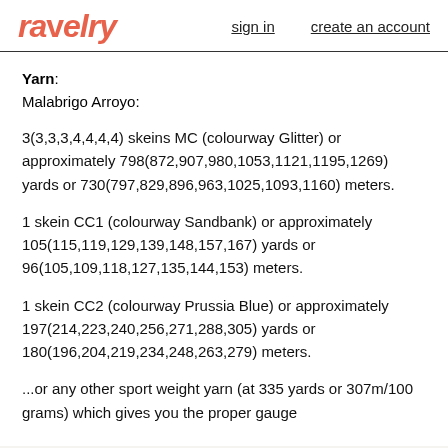ravelry  sign in  create an account
Yarn: Malabrigo Arroyo:
3(3,3,3,4,4,4,4) skeins MC (colourway Glitter) or approximately 798(872,907,980,1053,1121,1195,1269) yards or 730(797,829,896,963,1025,1093,1160) meters.
1 skein CC1 (colourway Sandbank) or approximately 105(115,119,129,139,148,157,167) yards or 96(105,109,118,127,135,144,153) meters.
1 skein CC2 (colourway Prussia Blue) or approximately 197(214,223,240,256,271,288,305) yards or 180(196,204,219,234,248,263,279) meters.
...or any other sport weight yarn (at 335 yards or 307m/100 grams) which gives you the proper gauge